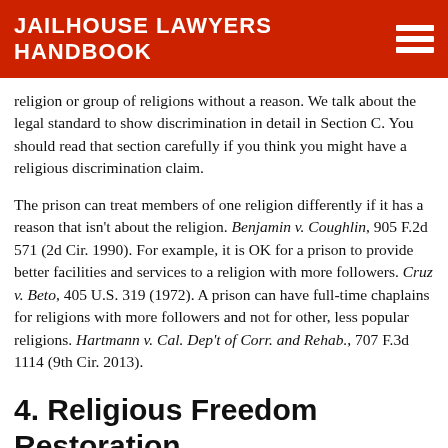JAILHOUSE LAWYERS HANDBOOK
religion or group of religions without a reason. We talk about the legal standard to show discrimination in detail in Section C. You should read that section carefully if you think you might have a religious discrimination claim.
The prison can treat members of one religion differently if it has a reason that isn't about the religion. Benjamin v. Coughlin, 905 F.2d 571 (2d Cir. 1990). For example, it is OK for a prison to provide better facilities and services to a religion with more followers. Cruz v. Beto, 405 U.S. 319 (1972). A prison can have full-time chaplains for religions with more followers and not for other, less popular religions. Hartmann v. Cal. Dep't of Corr. and Rehab., 707 F.3d 1114 (9th Cir. 2013).
4. Religious Freedom Restoration